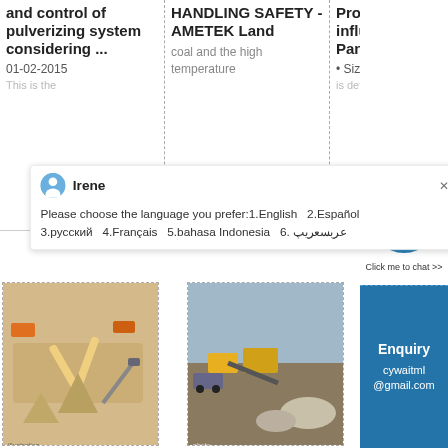and control of pulverizing system considering ...
01-02-2015
HANDLING SAFETY - AMETEK Land
coal and the high temperature
Properties and its influence on Boiler Pankaj Ekbote ...
• Sizing of ESP
[Figure (screenshot): Chat popup overlay with avatar of Irene and language selection message: Please choose the language you prefer:1.English 2.Español 3.русский 4.Français 5.bahasa Indonesia 6. عربسعریپ]
inlet primary air flow
results in further heat
[Figure (illustration): 3D illustration of a quarry or mining facility with conveyors and trucks]
[Figure (photo): Photo of outdoor aggregate/mining site with machinery and stockpiles]
Enquiry
cywaitml @gmail.com